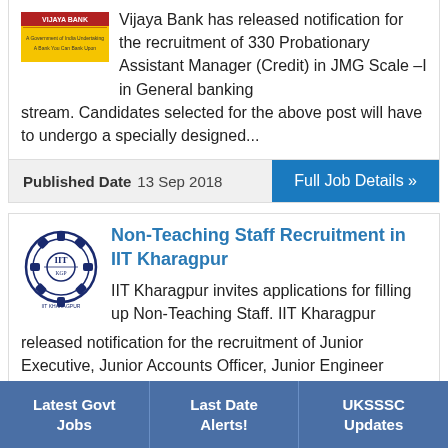Vijaya Bank has released notification for the recruitment of 330 Probationary Assistant Manager (Credit) in JMG Scale –I in General banking stream. Candidates selected for the above post will have to undergo a specially designed...
Published Date  13 Sep 2018
Full Job Details »
Non-Teaching Staff Recruitment in IIT Kharagpur
IIT Kharagpur invites applications for filling up Non-Teaching Staff. IIT Kharagpur released notification for the recruitment of Junior Executive, Junior Accounts Officer, Junior Engineer (Civil), Senior Library In... Instructor, Staff...
Latest Govt Jobs
Last Date Alerts!
UKSSSC Updates